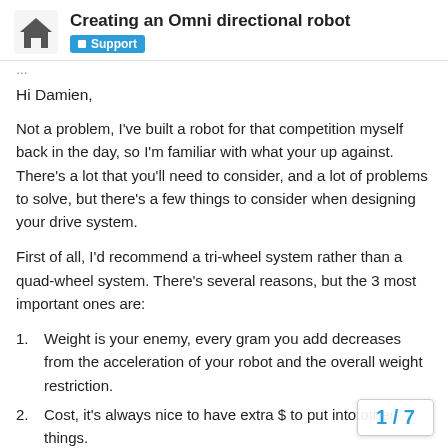Creating an Omni directional robot — Support
Hi Damien,
Not a problem, I've built a robot for that competition myself back in the day, so I'm familiar with what your up against. There's a lot that you'll need to consider, and a lot of problems to solve, but there's a few things to consider when designing your drive system.
First of all, I'd recommend a tri-wheel system rather than a quad-wheel system. There's several reasons, but the 3 most important ones are:
Weight is your enemy, every gram you add decreases from the acceleration of your robot and the overall weight restriction.
Cost, it's always nice to have extra $ to put into other things.
4 wheels means that you need to ensure the robot is precisely level, and that the playing
1 / 7